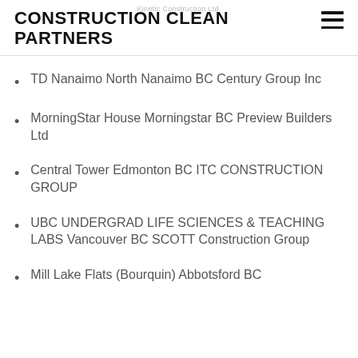Kinetic Construction Ltd.
CONSTRUCTION CLEAN PARTNERS
TD Nanaimo North Nanaimo BC Century Group Inc
MorningStar House Morningstar BC Preview Builders Ltd
Central Tower Edmonton BC ITC CONSTRUCTION GROUP
UBC UNDERGRAD LIFE SCIENCES & TEACHING LABS Vancouver BC SCOTT Construction Group
Mill Lake Flats (Bourquin) Abbotsford BC